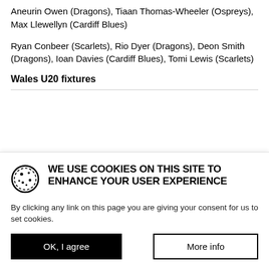Aneurin Owen (Dragons), Tiaan Thomas-Wheeler (Ospreys), Max Llewellyn (Cardiff Blues)
Ryan Conbeer (Scarlets), Rio Dyer (Dragons), Deon Smith (Dragons), Ioan Davies (Cardiff Blues), Tomi Lewis (Scarlets)
Wales U20 fixtures
WE USE COOKIES ON THIS SITE TO ENHANCE YOUR USER EXPERIENCE
By clicking any link on this page you are giving your consent for us to set cookies.
OK, I agree
More info